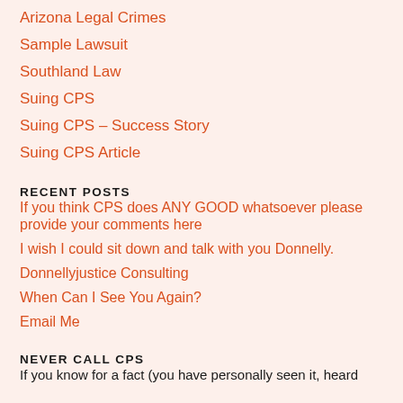Arizona Legal Crimes
Sample Lawsuit
Southland Law
Suing CPS
Suing CPS – Success Story
Suing CPS Article
RECENT POSTS
If you think CPS does ANY GOOD whatsoever please provide your comments here
I wish I could sit down and talk with you Donnelly.
Donnellyjustice Consulting
When Can I See You Again?
Email Me
NEVER CALL CPS
If you know for a fact (you have personally seen it, heard